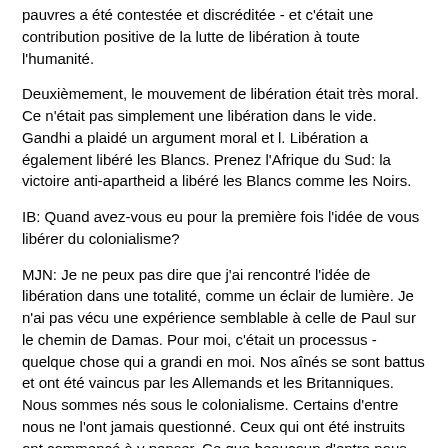pauvres a été contestée et discréditée - et c'était une contribution positive de la lutte de libération à toute l'humanité.
Deuxièmement, le mouvement de libération était très moral. Ce n'était pas simplement une libération dans le vide. Gandhi a plaidé un argument moral et l. Libération a également libéré les Blancs. Prenez l'Afrique du Sud: la victoire anti-apartheid a libéré les Blancs comme les Noirs.
IB: Quand avez-vous eu pour la première fois l'idée de vous libérer du colonialisme?
MJN: Je ne peux pas dire que j'ai rencontré l'idée de libération dans une totalité, comme un éclair de lumière. Je n'ai pas vécu une expérience semblable à celle de Paul sur le chemin de Damas. Pour moi, c'était un processus - quelque chose qui a grandi en moi. Nos aînés se sont battus et ont été vaincus par les Allemands et les Britanniques. Nous sommes nés sous le colonialisme. Certains d'entre nous ne l'ont jamais questionné. Ceux qui ont été instruits ont commencé à y penser. Ce que beaucoup d'entre nous avons vécu était simplement un désir d'être accepté par l'homme blanc. Au